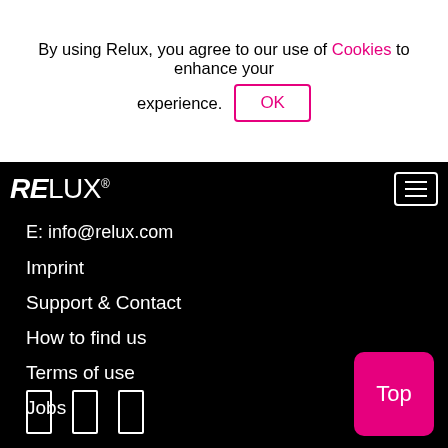By using Relux, you agree to our use of Cookies to enhance your experience.  OK
[Figure (logo): RELUX logo in white on black background, bold italic RE followed by thin LUX with registered trademark symbol]
[Figure (other): Hamburger menu icon (three horizontal lines) in white border rectangle]
E: info@relux.com
Imprint
Support & Contact
How to find us
Terms of use
Jobs
[Figure (other): Three social media icon rectangles (outline) at bottom left]
[Figure (other): Pink/magenta Top button at bottom right]